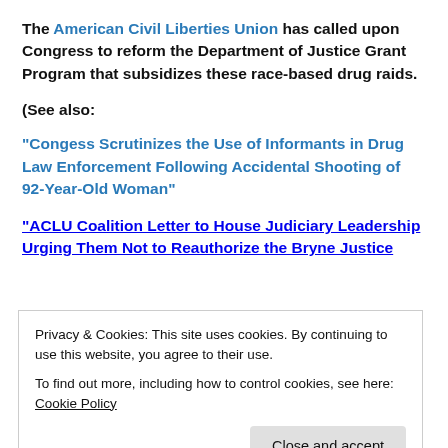The American Civil Liberties Union has called upon Congress to reform the Department of Justice Grant Program that subsidizes these race-based drug raids.
(See also:
“Congess Scrutinizes the Use of Informants in Drug Law Enforcement Following Accidental Shooting of 92-Year-Old Woman”
“ACLU Coalition Letter to House Judiciary Leadership Urging Them Not to Reauthorize the Bryne Justice
Privacy & Cookies: This site uses cookies. By continuing to use this website, you agree to their use.
To find out more, including how to control cookies, see here: Cookie Policy
drugs, and many innocent Black people continue to